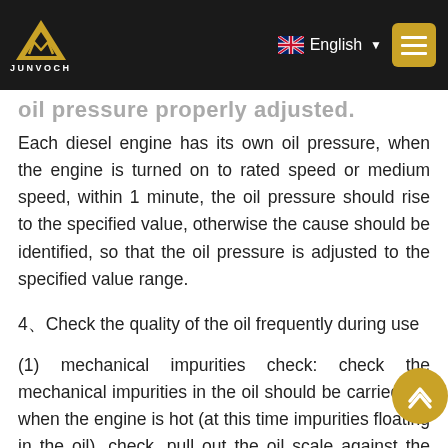JUNVOCH | English
oil pressure properly adjusted.
Each diesel engine has its own oil pressure, when the engine is turned on to rated speed or medium speed, within 1 minute, the oil pressure should rise to the specified value, otherwise the cause should be identified, so that the oil pressure is adjusted to the specified value range.
4、Check the quality of the oil frequently during use
(1) mechanical impurities check: check the mechanical impurities in the oil should be carried out when the engine is hot (at this time impurities floating in the oil), check, pull out the oil scale against the light to see, such as found on the oil